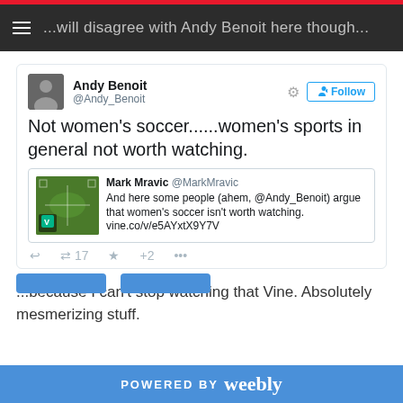...will disagree with Andy Benoit here though...
[Figure (screenshot): Tweet from Andy Benoit (@Andy_Benoit) saying 'Not women's soccer......women's sports in general not worth watching.' with a quoted tweet from Mark Mravic (@MarkMravic) that reads 'And here some people (ahem, @Andy_Benoit) argue that women's soccer isn't worth watching. vine.co/v/e5AYxtX9Y7V' with a soccer field thumbnail image.]
...because I can't stop watching that Vine. Absolutely mesmerizing stuff.
POWERED BY weebly